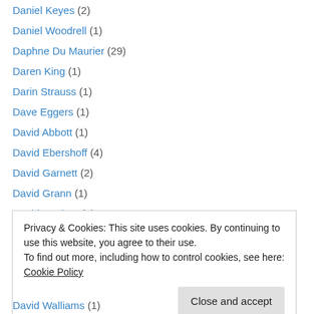Daniel Keyes (2)
Daniel Woodrell (1)
Daphne Du Maurier (29)
Daren King (1)
Darin Strauss (1)
Dave Eggers (1)
David Abbott (1)
David Ebershoff (4)
David Garnett (2)
David Grann (1)
David Hughes (1)
David Levithan (1)
David Llewellyn (2)
Privacy & Cookies: This site uses cookies. By continuing to use this website, you agree to their use. To find out more, including how to control cookies, see here: Cookie Policy
David Walliams (1)